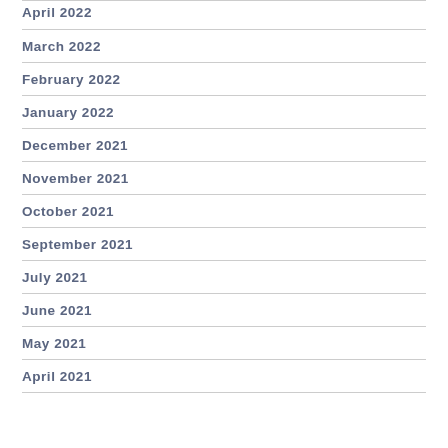April 2022
March 2022
February 2022
January 2022
December 2021
November 2021
October 2021
September 2021
July 2021
June 2021
May 2021
April 2021